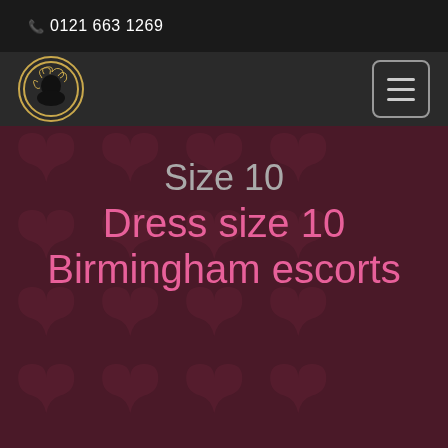0121 663 1269
[Figure (logo): Circular logo with golden swirl pattern and silhouette of a woman's head]
Size 10
Dress size 10
Birmingham escorts
If you're looking for dress size 10 Birmingham escorts then look no further as we have the most stunning ladies waiting to please you. Dress size 10